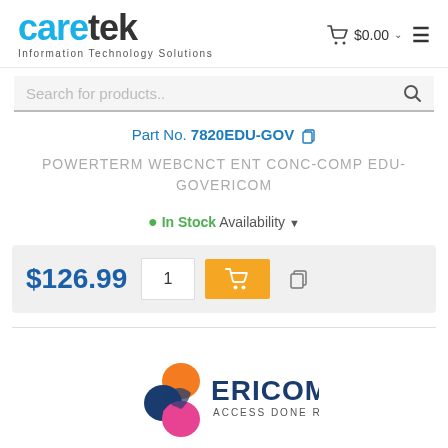[Figure (logo): Caretek Information Technology Solutions logo]
$0.00
Search for products..
Part No. 7820EDU-GOV
POWERTERM WEBCNCT ENT CONC-COMP EDU-GOVERICOM
● In Stock Availability ▾
$126.99
[Figure (logo): Ericom Access Done Right logo]